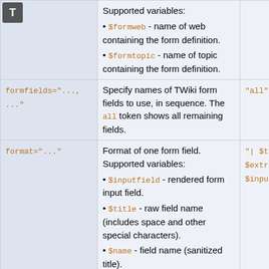[Figure (other): Icon with letter T on dark background, top-left corner]
| Parameter | Description | Default |
| --- | --- | --- |
|  | Supported variables:
• $formweb - name of web containing the form definition.
• $formtopic - name of topic containing the form definition. |  |
| formfields="..., ..." | Specify names of TWiki form fields to use, in sequence. The all token shows all remaining fields. | "all" |
| format="..." | Format of one form field. Supported variables:
• $inputfield - rendered form input field.
• $title - raw field name (includes space and other special characters).
• $name - field name (sanitized title).
• $size - size of field or selector.
• $value - initial value, or | "| $ti $extra $input |